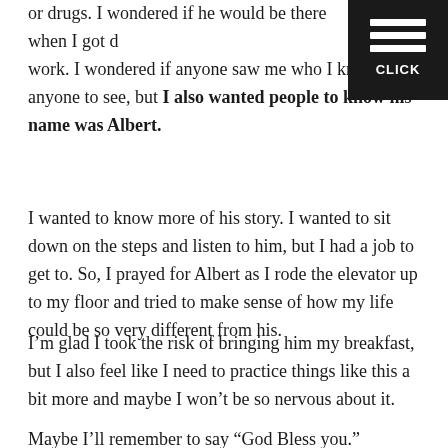or drugs. I wondered if he would be there when I got done with work. I wondered if anyone saw me who I knew. I didn't want anyone to see, but I also wanted people to know his name was Albert.
I wanted to know more of his story. I wanted to sit down on the steps and listen to him, but I had a job to get to. So, I prayed for Albert as I rode the elevator up to my floor and tried to make sense of how my life could be so very different from his.
I'm glad I took the risk of bringing him my breakfast, but I also feel like I need to practice things like this a bit more and maybe I won't be so nervous about it.
Maybe I'll remember to say “God Bless you.”